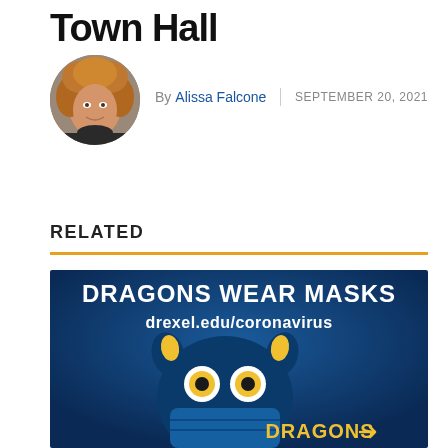Town Hall
By Alissa Falcone | SEPTEMBER 20, 2021
[Figure (photo): Circular headshot photo of Alissa Falcone, a woman with curly auburn hair, smiling, wearing dark clothing against a grey background.]
RELATED
[Figure (illustration): A Drexel University graphic with dark blue background showing a cartoon dragon mascot wearing a face mask, with text 'DRAGONS WEAR MASKS' and 'drexel.edu/coronavirus' and 'DRAGONS' at the bottom.]